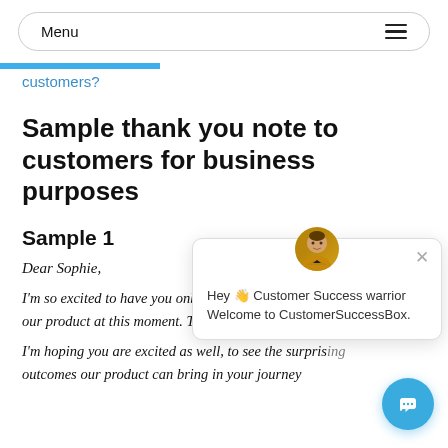Menu ≡
customers?
Sample thank you note to customers for business purposes
Sample 1
Dear Sophie,
I'm so excited to have you onboarded with the first time purchase of our product at this moment. Thank you!
I'm hoping you are excited as well, to see the surprising outcomes our product can bring in your journey